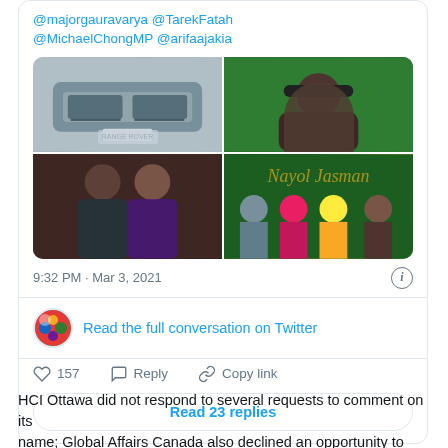@majorgauravarya @TarekFatah @MichaelChongMP @arifaajakia
[Figure (photo): A 2x2 grid of four photos: top-left shows a Range Rover SUV with a green flag, top-right shows a man wearing a cap in front of a green background, bottom-left shows a couple posing at an event, bottom-right shows a group of people posing at an event with decorative lettering in the background.]
9:32 PM · Mar 3, 2021
Read the full conversation on Twitter
157   Reply   Copy link
Read 23 replies
HCI Ottawa did not respond to several requests to comment on its name; Global Affairs Canada also declined an opportunity to comment